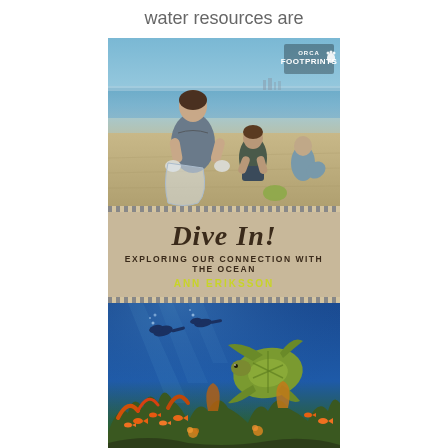water resources are
[Figure (photo): Book cover of 'Dive In! Exploring Our Connection with the Ocean' by Ann Eriksson, published by Orca Footprints. Top half shows children cleaning up a beach collecting trash in bags. Middle band has the title 'Dive In!' in stylized text, subtitle 'Exploring Our Connection with the Ocean', and author name 'Ann Eriksson' in yellow. Bottom half shows an underwater scene with scuba divers, a sea turtle, and a coral reef with colorful fish.]